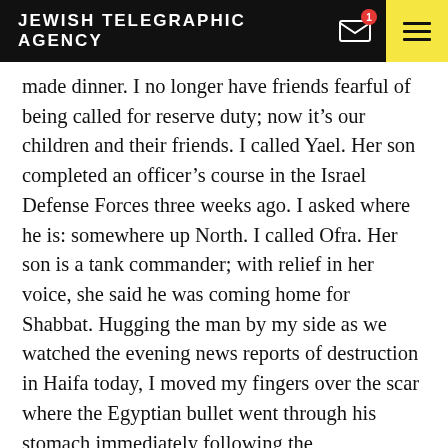JEWISH TELEGRAPHIC AGENCY
made dinner. I no longer have friends fearful of being called for reserve duty; now it’s our children and their friends. I called Yael. Her son completed an officer’s course in the Israel Defense Forces three weeks ago. I asked where he is: somewhere up North. I called Ofra. Her son is a tank commander; with relief in her voice, she said he was coming home for Shabbat. Hugging the man by my side as we watched the evening news reports of destruction in Haifa today, I moved my fingers over the scar where the Egyptian bullet went through his stomach immediately following the announcement of the cease-fire that ended the Yom Kippur War. Tonight I asked him. I then came sitting over the? Do over for d